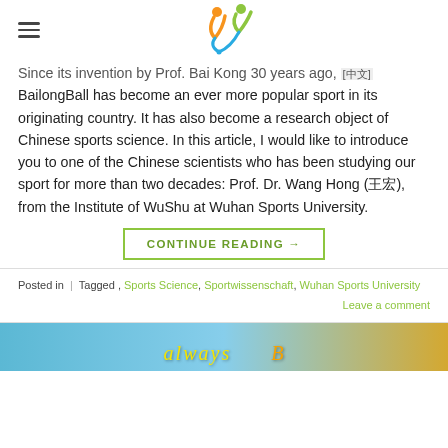BailongBall website header with logo
Since its invention by Prof. Bai Kong 30 years ago, BailongBall has become an ever more popular sport in its originating country. It has also become a research object of Chinese sports science. In this article, I would like to introduce you to one of the Chinese scientists who has been studying our sport for more than two decades: Prof. Dr. Wang Hong (王宏), from the Institute of WuShu at Wuhan Sports University.
CONTINUE READING →
Posted in  |  Tagged ,  Sports Science, Sportwissenschaft, Wuhan Sports University      Leave a comment
[Figure (photo): Bottom banner image showing a sports or BailongBall related scene with colorful decorative text]